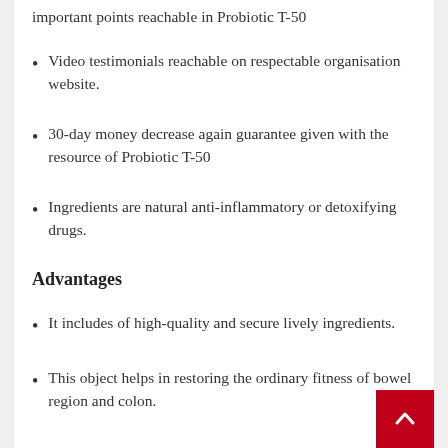important points reachable in Probiotic T-50
Video testimonials reachable on respectable organisation website.
30-day money decrease again guarantee given with the resource of Probiotic T-50
Ingredients are natural anti-inflammatory or detoxifying drugs.
Advantages
It includes of high-quality and secure lively ingredients.
This object helps in restoring the ordinary fitness of bowel region and colon.